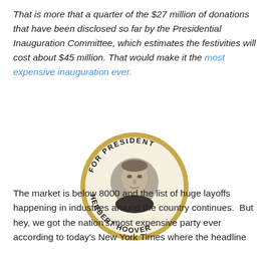That is more that a quarter of the $27 million of donations that have been disclosed so far by the Presidential Inauguration Committee, which estimates the festivities will cost about $45 million. That would make it the most expensive inauguration ever.
[Figure (photo): A campaign button for Herbert Hoover reading 'FOR PRESIDENT HERBERT HOOVER' with a portrait photo of Herbert Hoover in the center. The button has a gold/tan border and cream background.]
The market is below 8000 and the list of huge layoffs happening in industries around the country continues.  But hey, we got the nation's most expensive party ever according to today's New York Times where the headline